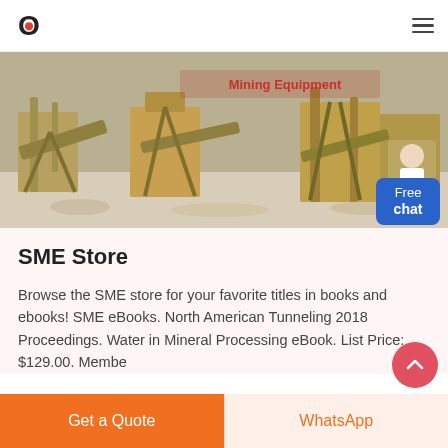JESCO
[Figure (photo): Industrial mining/quarrying equipment including conveyor belts, hoppers, and processing machinery, with a small inset of a chat assistant avatar.]
SME Store
Browse the SME store for your favorite titles in books and ebooks! SME eBooks. North American Tunneling 2018 Proceedings. Water in Mineral Processing eBook. List Price: $129.00. Member
Get a Quote | WhatsApp